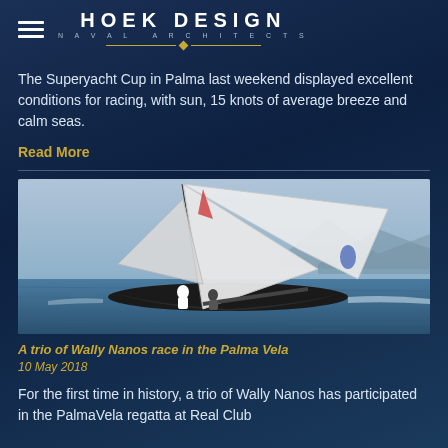HOEK DESIGN NAVAL ARCHITECTS
The Superyacht Cup in Palma last weekend displayed excellent conditions for racing, with sun, 15 knots of average breeze and calm seas.
Read More
[Figure (photo): A dark-hulled sailing yacht with large white sails racing on calm blue water, with two crew members visible and mountains in the background.]
A trio of Wally Nanos race in the Palma Vela
10 May 2018
For the first time in history, a trio of Wally Nanos has participated in the PalmaVela regatta at Real Club